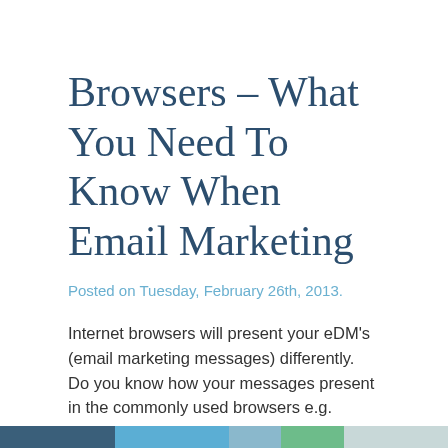Browsers – What You Need To Know When Email Marketing
Posted on Tuesday, February 26th, 2013.
Internet browsers will present your eDM's (email marketing messages) differently.  Do you know how your messages present in the commonly used browsers e.g. Firefox, IE, Chrome etc?
When Mobilize Mail tests eDMs for clients as part of our premium service (business eDM campaign